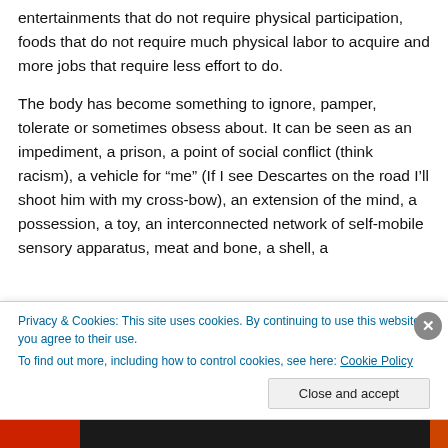entertainments that do not require physical participation, foods that do not require much physical labor to acquire and more jobs that require less effort to do.
The body has become something to ignore, pamper, tolerate or sometimes obsess about. It can be seen as an impediment, a prison, a point of social conflict (think racism), a vehicle for “me” (If I see Descartes on the road I’ll shoot him with my cross-bow), an extension of the mind, a possession, a toy, an interconnected network of self-mobile sensory apparatus, meat and bone, a shell, a
Privacy & Cookies: This site uses cookies. By continuing to use this website, you agree to their use.
To find out more, including how to control cookies, see here: Cookie Policy
Close and accept